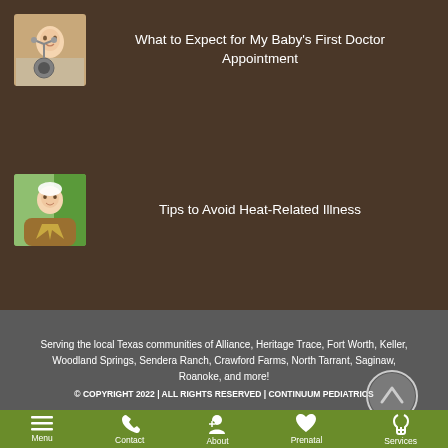[Figure (photo): Baby with stethoscope thumbnail]
What to Expect for My Baby's First Doctor Appointment
[Figure (photo): Baby in basket outdoor thumbnail]
Tips to Avoid Heat-Related Illness
Serving the local Texas communities of Alliance, Heritage Trace, Fort Worth, Keller, Woodland Springs, Sendera Ranch, Crawford Farms, North Tarrant, Saginaw, Roanoke, and more!
© COPYRIGHT 2022 | ALL RIGHTS RESERVED | CONTINUUM PEDIATRICS